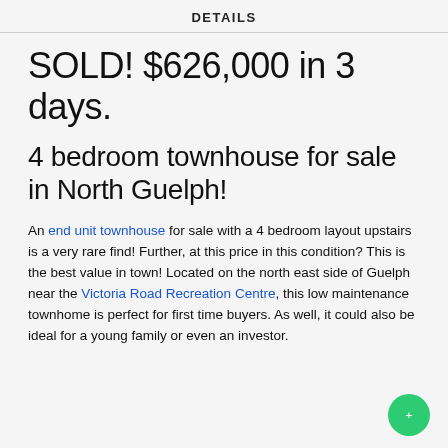DETAILS
SOLD! $626,000 in 3 days.
4 bedroom townhouse for sale in North Guelph!
An end unit townhouse for sale with a 4 bedroom layout upstairs is a very rare find! Further, at this price in this condition? This is the best value in town! Located on the north east side of Guelph near the Victoria Road Recreation Centre, this low maintenance townhome is perfect for first time buyers. As well, it could also be ideal for a young family or even an investor.